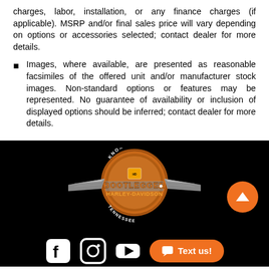charges, labor, installation, or any finance charges (if applicable). MSRP and/or final sales price will vary depending on options or accessories selected; contact dealer for more details.
Images, where available, are presented as reasonable facsimiles of the offered unit and/or manufacturer stock images. Non-standard options or features may be represented. No guarantee of availability or inclusion of displayed options should be inferred; contact dealer for more details.
[Figure (logo): Bootlegger Harley-Davidson Knoxville Tennessee logo — circular orange badge with wings and Tennessee state shape]
[Figure (infographic): Social media icons row: Facebook, Instagram, YouTube, and an orange 'Text us!' chat button]